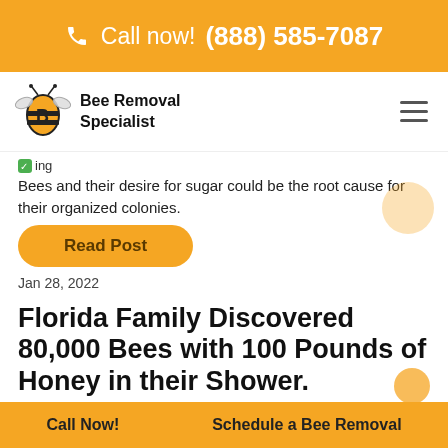📞 Call now! (888) 585-7087
[Figure (logo): Bee Removal Specialist logo — stylized bee with letter B]
Bee Removal Specialist
✔ing
Bees and their desire for sugar could be the root cause for their organized colonies.
Read Post
Jan 28, 2022
Florida Family Discovered 80,000 Bees with 100 Pounds of Honey in their Shower.
Call Now!   Schedule a Bee Removal